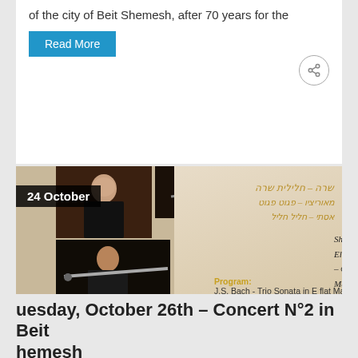of the city of Beit Shemesh, after 70 years for the
Read More
[Figure (photo): Concert flyer dated 24 October showing musicians including Shira Eliassaf on Clarinet, Maurizio Paez on Basson, Esti Rofe on Flute with Hebrew text and program listing J.S. Bach Trio Sonata in E flat Major BWV. 525 and W.A. Mozart Divertimento]
Tuesday, October 26th – Concert N°2 in Beit Shemesh
Uncategorized   Hanna Bachar   No Comments
The best concert by the best musicians arrives on